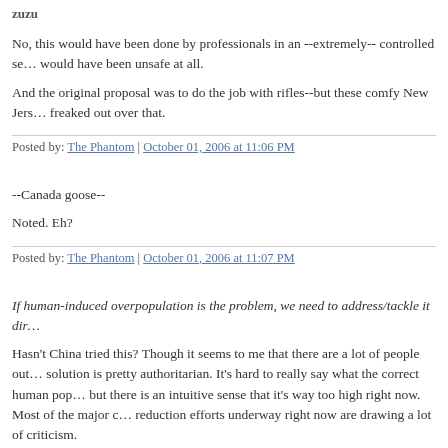zuzu
No, this would have been done by professionals in an --extremely-- controlled se… would have been unsafe at all.
And the original proposal was to do the job with rifles--but these comfy New Jers… freaked out over that.
Posted by: The Phantom | October 01, 2006 at 11:06 PM
--Canada goose--
Noted. Eh?
Posted by: The Phantom | October 01, 2006 at 11:07 PM
If human-induced overpopulation is the problem, we need to address/tackle it dir…
Hasn't China tried this? Though it seems to me that there are a lot of people out… solution is pretty authoritarian. It's hard to really say what the correct human pop… but there is an intuitive sense that it's way too high right now. Most of the major c… reduction efforts underway right now are drawing a lot of criticism.
Posted by: T. Bailey | October 01, 2006 at 11:25 PM
Hunting might thin some herds of deer, though not those that live in suburbs. You… with diesel to addle them and the parents, thinking the eggs are just taking a ve…